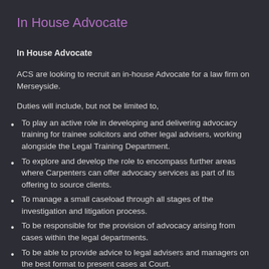In House Advocate
In House Advocate
ACS are looking to recruit an in-house Advocate for a law firm on Merseyside.
Duties will include, but not be limited to,
To play an active role in developing and delivering advocacy training for trainee solicitors and other legal advisers, working alongside the Legal Training Department.
To explore and develop the role to encompass further areas where Carpenters can offer advocacy services as part of its offering to source clients.
To manage a small caseload through all stages of the investigation and litigation process.
To be responsible for the provision of advocacy arising from cases within the legal departments.
To be able to provide advice to legal advisers and managers on the best format to present cases at Court.
To undertake advocacy requirements arising within all of the firm's